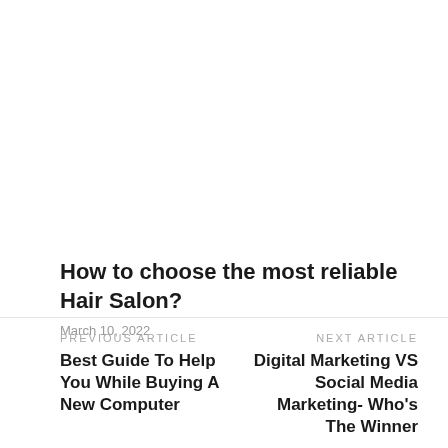How to choose the most reliable Hair Salon?
March 10, 2022
PREVIOUS ARTICLE
Best Guide To Help You While Buying A New Computer
NEXT ARTICLE
Digital Marketing VS Social Media Marketing- Who's The Winner